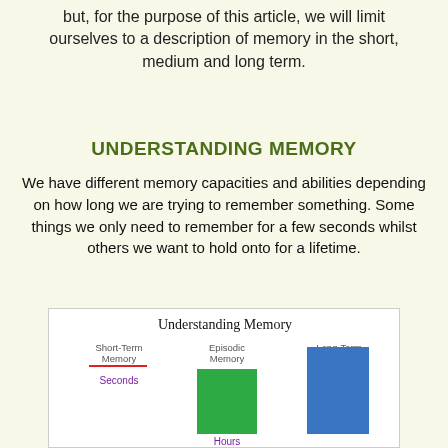but, for the purpose of this article, we will limit ourselves to a description of memory in the short, medium and long term.
UNDERSTANDING MEMORY
We have different memory capacities and abilities depending on how long we are trying to remember something. Some things we only need to remember for a few seconds whilst others we want to hold onto for a lifetime.
[Figure (bar-chart): Understanding Memory]